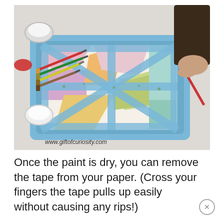[Figure (photo): A child's hands working on a tape-resist painting art project. A blue plastic tray holds a sheet of paper with colorful painted sections (pink, yellow, orange, green, light blue) separated by strips of blue painter's tape arranged in geometric patterns. Several paintbrushes (red, green, yellow) lie on the left side of the tray. Paint containers are visible in the background. Watermark reads: www.giftofcuriosity.com]
Once the paint is dry, you can remove the tape from your paper. (Cross your fingers the tape pulls up easily without causing any rips!)